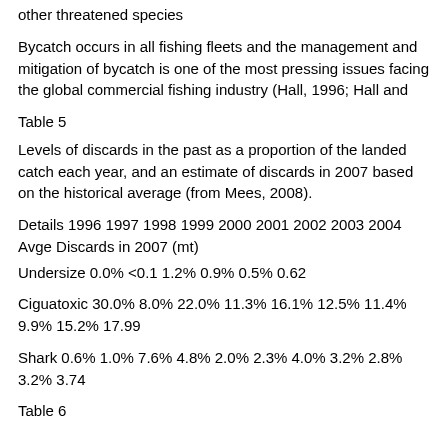other threatened species
Bycatch occurs in all fishing fleets and the management and mitigation of bycatch is one of the most pressing issues facing the global commercial fishing industry (Hall, 1996; Hall and
Table 5
Levels of discards in the past as a proportion of the landed catch each year, and an estimate of discards in 2007 based on the historical average (from Mees, 2008).
| Details | 1996 | 1997 | 1998 | 1999 | 2000 | 2001 | 2002 | 2003 | 2004 | Avge | Discards in 2007 (mt) |
| --- | --- | --- | --- | --- | --- | --- | --- | --- | --- | --- | --- |
| Undersize | 0.0% | <0.1 | 1.2% | 0.9% | 0.5% | 0.62 |  |  |  |  |  |
| Ciguatoxic | 30.0% | 8.0% | 22.0% | 11.3% | 16.1% | 12.5% | 11.4% | 9.9% | 15.2% | 17.99 |  |
| Shark | 0.6% | 1.0% | 7.6% | 4.8% | 2.0% | 2.3% | 4.0% | 3.2% | 2.8% | 3.2% | 3.74 |
Table 6